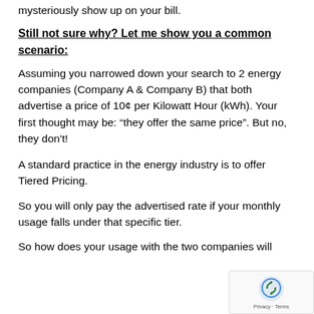mysteriously show up on your bill.
Still not sure why? Let me show you a common scenario:
Assuming you narrowed down your search to 2 energy companies (Company A & Company B) that both advertise a price of 10¢ per Kilowatt Hour (kWh). Your first thought may be: “they offer the same price”. But no, they don't!
A standard practice in the energy industry is to offer Tiered Pricing.
So you will only pay the advertised rate if your monthly usage falls under that specific tier.
So how does your usage with the two companies will